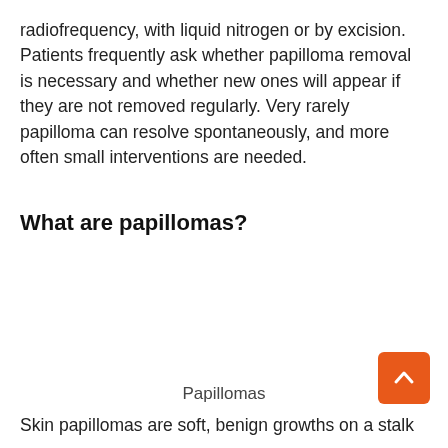radiofrequency, with liquid nitrogen or by excision. Patients frequently ask whether papilloma removal is necessary and whether new ones will appear if they are not removed regularly. Very rarely papilloma can resolve spontaneously, and more often small interventions are needed.
What are papillomas?
[Figure (photo): Image area showing papillomas (blank/white area in this page crop)]
Papillomas
Skin papillomas are soft, benign growths on a stalk